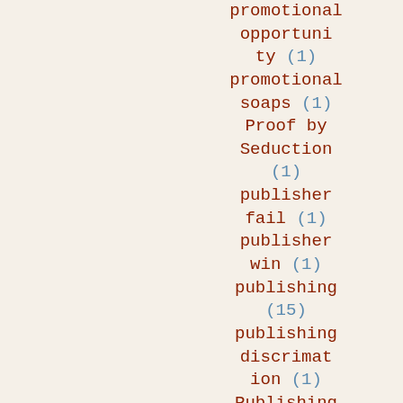promotional opportunity (1)
promotional soaps (1)
Proof by Seduction (1)
publisher fail (1)
publisher win (1)
publishing (15)
publishing discrimination (1)
Publishing